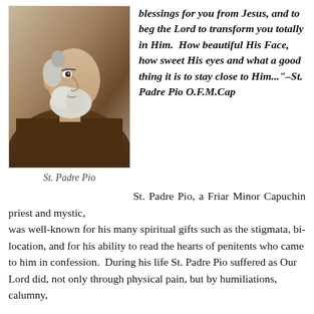[Figure (photo): Portrait photograph of St. Padre Pio, an elderly friar with white beard, wearing a brown habit, shown in profile/three-quarter view]
St. Padre Pio
blessings for you from Jesus, and to beg the Lord to transform you totally in Him. How beautiful His Face, how sweet His eyes and what a good thing it is to stay close to Him..."–St. Padre Pio O.F.M.Cap
St. Padre Pio, a Friar Minor Capuchin priest and mystic, was well-known for his many spiritual gifts such as the stigmata, bi-location, and for his ability to read the hearts of penitents who came to him in confession. During his life St. Padre Pio suffered as Our Lord did, not only through physical pain, but by humiliations, calumny,